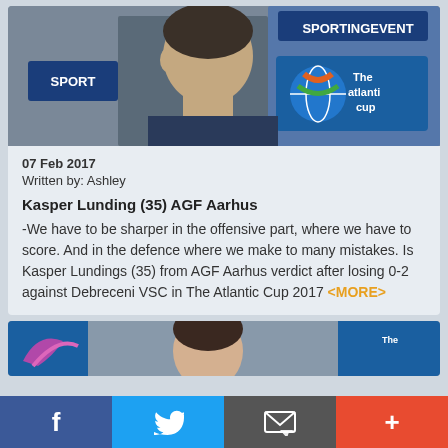[Figure (photo): Young male athlete in dark jersey with The Atlantic Cup branding backdrop visible, showing logos and signage]
07 Feb 2017
Written by: Ashley
Kasper Lunding (35) AGF Aarhus
-We have to be sharper in the offensive part, where we have to score. And in the defence where we make to many mistakes. Is Kasper Lundings (35) from AGF Aarhus verdict after losing 0-2 against Debreceni VSC in The Atlantic Cup 2017 <MORE>
[Figure (photo): Partial view of another article photo showing a person and The Atlantic Cup branding]
[Figure (illustration): Social sharing bar with Facebook, Twitter, email/share, and plus buttons]